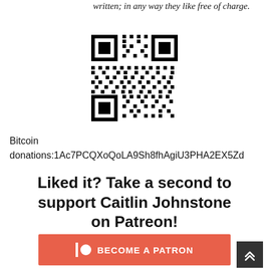written; in any way they like free of charge.
[Figure (other): QR code for Bitcoin donations]
Bitcoin
donations:1Ac7PCQXoQoLA9Sh8fhAgiU3PHA2EX5Zd
Liked it? Take a second to support Caitlin Johnstone on Patreon!
[Figure (other): Patreon button: BECOME A PATRON]
[Figure (other): Scroll to top button with double chevron up arrow]